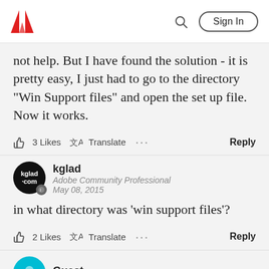Adobe — Sign In
not help. But I have found the solution - it is pretty easy, I just had to go to the directory "Win Support files" and open the set up file. Now it works.
3 Likes  Translate  ...  Reply
kglad
Adobe Community Professional
May 08, 2015
in what directory was 'win support files'?
2 Likes  Translate  ...  Reply
Guest